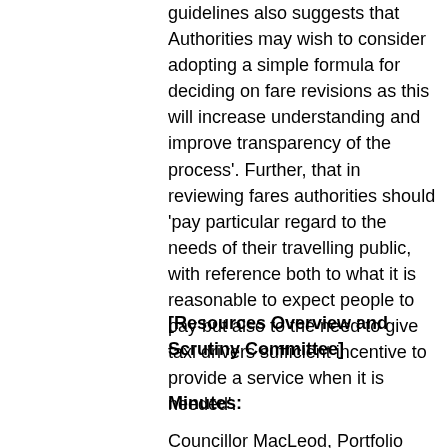guidelines also suggests that Authorities may wish to consider adopting a simple formula for deciding on fare revisions as this will increase understanding and improve transparency of the process'. Further, that in reviewing fares authorities should 'pay particular regard to the needs of their travelling public, with reference both to what it is reasonable to expect people to pay but also to the need to give taxi drivers sufficient incentive to provide a service when it is needed'.
[Resources Overview and Scrutiny Committee]
Minutes:
Councillor MacLeod, Portfolio Holder for